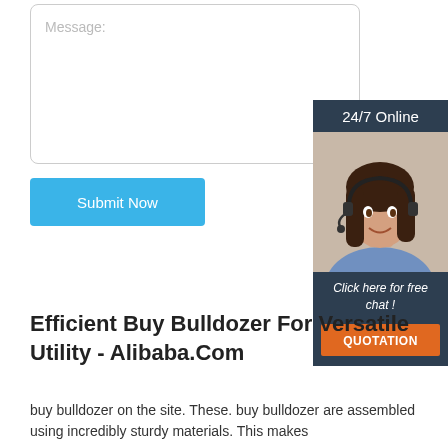Message:
Submit Now
[Figure (photo): 24/7 online chat widget with a customer service representative wearing a headset. Includes 'Click here for free chat!' text and an orange QUOTATION button.]
Efficient Buy Bulldozer For Versatile Utility - Alibaba.Com
buy bulldozer on the site. These. buy bulldozer are assembled using incredibly sturdy materials. This makes